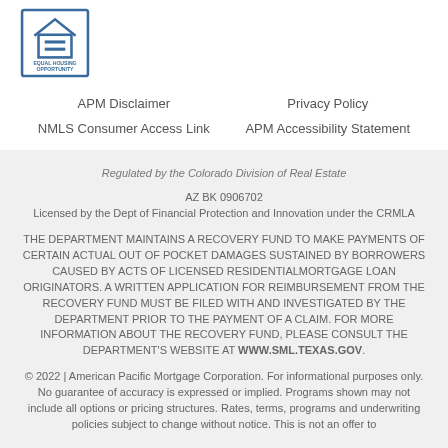[Figure (logo): Equal Housing Opportunity logo — house with equal sign, text EQUAL HOUSING OPPORTUNITY]
APM Disclaimer
NMLS Consumer Access Link
Privacy Policy
APM Accessibility Statement
Regulated by the Colorado Division of Real Estate
AZ BK 0906702
Licensed by the Dept of Financial Protection and Innovation under the CRMLA
THE DEPARTMENT MAINTAINS A RECOVERY FUND TO MAKE PAYMENTS OF CERTAIN ACTUAL OUT OF POCKET DAMAGES SUSTAINED BY BORROWERS CAUSED BY ACTS OF LICENSED RESIDENTIALMORTGAGE LOAN ORIGINATORS. A WRITTEN APPLICATION FOR REIMBURSEMENT FROM THE RECOVERY FUND MUST BE FILED WITH AND INVESTIGATED BY THE DEPARTMENT PRIOR TO THE PAYMENT OF A CLAIM. FOR MORE INFORMATION ABOUT THE RECOVERY FUND, PLEASE CONSULT THE DEPARTMENT'S WEBSITE AT WWW.SML.TEXAS.GOV.
© 2022 | American Pacific Mortgage Corporation. For informational purposes only. No guarantee of accuracy is expressed or implied. Programs shown may not include all options or pricing structures. Rates, terms, programs and underwriting policies subject to change without notice. This is not an offer to